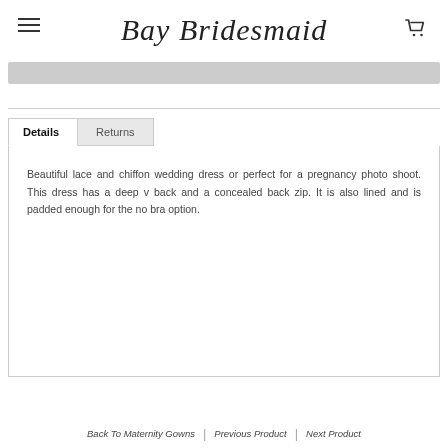Bay Bridesmaid
[Figure (other): Gray loading/progress bar placeholder]
Details | Returns tabs with product description: Beautiful lace and chiffon wedding dress or perfect for a pregnancy photo shoot. This dress has a deep v back and a concealed back zip. It is also lined and is padded enough for the no bra option.
Back To Maternity Gowns | Previous Product | Next Product